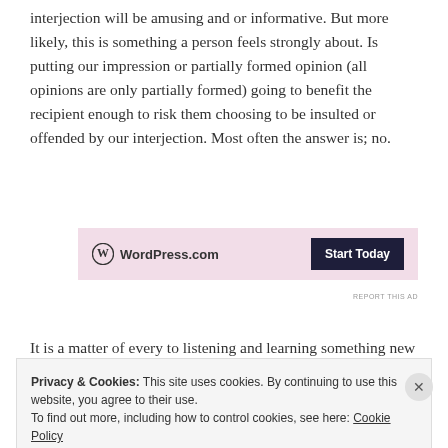interjection will be amusing and or informative. But more likely, this is something a person feels strongly about. Is putting our impression or partially formed opinion (all opinions are only partially formed) going to benefit the recipient enough to risk them choosing to be insulted or offended by our interjection. Most often the answer is; no.
[Figure (other): WordPress.com advertisement banner with pink background, WordPress logo on left and 'Start Today' dark button on right]
It is a matter of...
Privacy & Cookies: This site uses cookies. By continuing to use this website, you agree to their use.
To find out more, including how to control cookies, see here: Cookie Policy
Close and accept